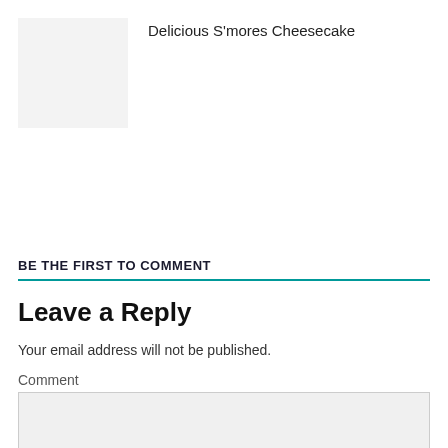[Figure (photo): Small thumbnail image placeholder (light gray square)]
Delicious S'mores Cheesecake
BE THE FIRST TO COMMENT
Leave a Reply
Your email address will not be published.
Comment